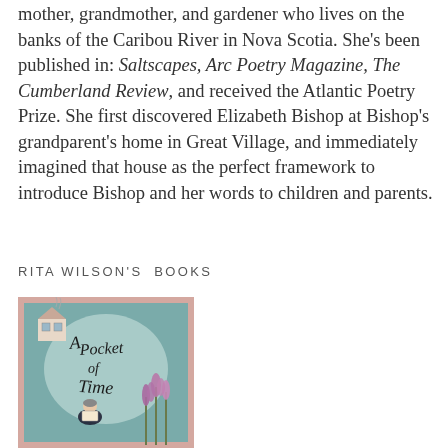mother, grandmother, and gardener who lives on the banks of the Caribou River in Nova Scotia. She's been published in: Saltscapes, Arc Poetry Magazine, The Cumberland Review, and received the Atlantic Poetry Prize. She first discovered Elizabeth Bishop at Bishop's grandparent's home in Great Village, and immediately imagined that house as the perfect framework to introduce Bishop and her words to children and parents.
RITA WILSON'S  BOOKS
[Figure (illustration): Book cover of 'A Pocket of Time' with illustrated artwork showing a figure reading, purple flowers, and a house on a teal/blue-green background with a pink border.]